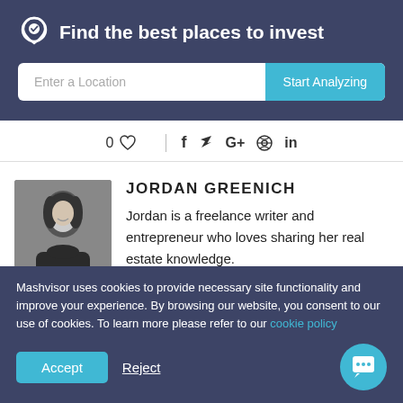Find the best places to invest
[Figure (screenshot): Search input field with placeholder 'Enter a Location' and a 'Start Analyzing' button]
0 ♡  |  f  t  G+  ⊕  in
[Figure (photo): Black and white headshot photo of Jordan Greenich]
JORDAN GREENICH
Jordan is a freelance writer and entrepreneur who loves sharing her real estate knowledge. She is the owner of Philosophy Marketing, a copywriting
Mashvisor uses cookies to provide necessary site functionality and improve your experience. By browsing our website, you consent to our use of cookies. To learn more please refer to our cookie policy